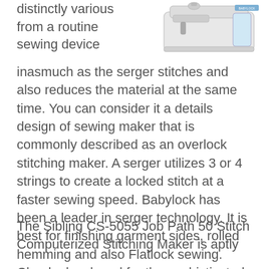distinctly various from a routine sewing device
[Figure (photo): Photo of a white sewing machine / serger device, viewed from the front-right angle]
inasmuch as the serger stitches and also reduces the material at the same time. You can consider it a details design of sewing maker that is commonly described as an overlock stitching maker. A serger utilizes 3 or 4 strings to create a locked stitch at a faster sewing speed. Babylock has been a leader in serger technology. It is best for finishing garment sides, rolled hemming and also Flatlock sewing. Clearly developed for the sophisticated individual.
The Sibling CS-5055 Job Path 50 Stitch Computerized Stitching Maker is aptly